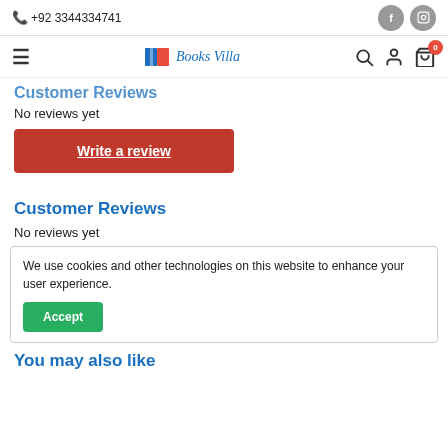☎ +92 3344334741
Books Villa navigation bar with hamburger, logo, search, account, cart (0)
Customer Reviews
No reviews yet
Write a review
Customer Reviews
No reviews yet
We use cookies and other technologies on this website to enhance your user experience.
Accept
You may also like